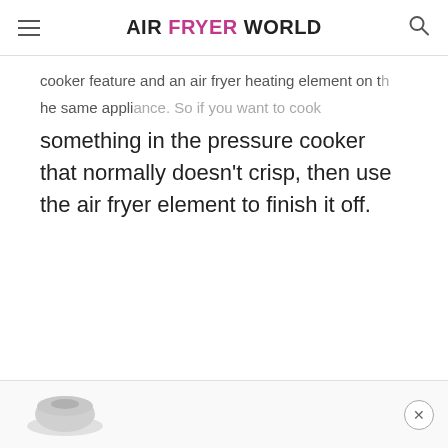AIR FRYER WORLD
cooker feature and an air fryer heating element on the same appliance. So if you want to cook something in the pressure cooker that normally doesn't crisp, then use the air fryer element to finish it off.